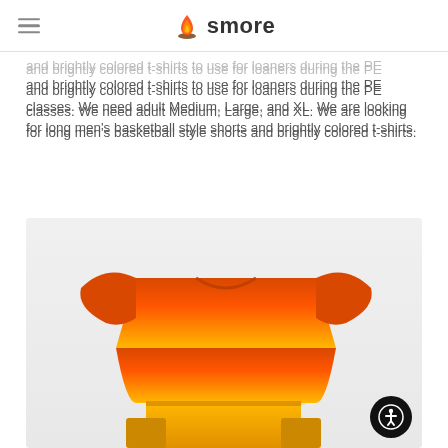smore
and brightly colored t-shirts to use for loaners during the PE classes. We need adult Medium, Large, and XL. We are looking for long men's basketball style shorts and brightly colored t-shirts.
[Figure (photo): Back view of an orange-to-yellow gradient basketball jersey/t-shirt with matching shorts, displayed against a light gray background.]